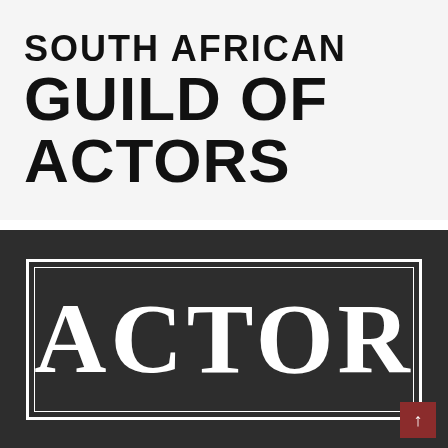[Figure (logo): South African Guild of Actors logo on light grey background with bold black sans-serif text]
[Figure (logo): ACTOR text in large white serif font inside a white double-border rectangle on dark charcoal background]